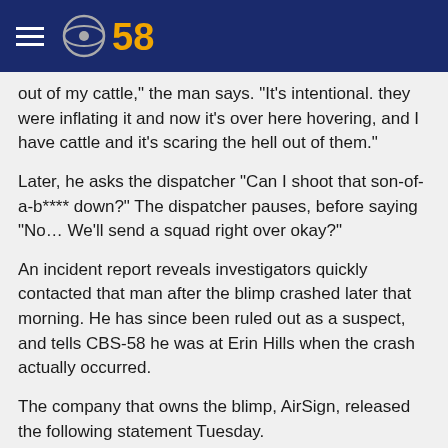CBS 58
out of my cattle," the man says. "It's intentional. they were inflating it and now it's over here hovering, and I have cattle and it's scaring the hell out of them."
Later, he asks the dispatcher "Can I shoot that son-of-a-b**** down?" The dispatcher pauses, before saying "No… We'll send a squad right over okay?"
An incident report reveals investigators quickly contacted that man after the blimp crashed later that morning. He has since been ruled out as a suspect, and tells CBS-58 he was at Erin Hills when the crash actually occurred.
The company that owns the blimp, AirSign, released the following statement Tuesday.